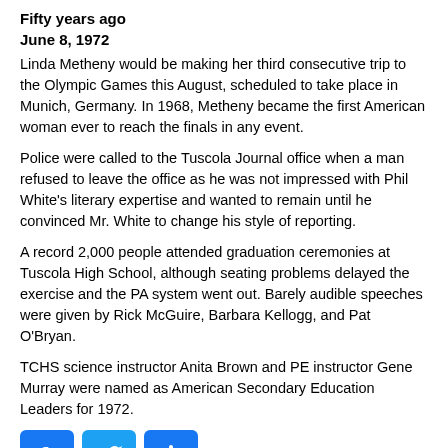Fifty years ago
June 8, 1972
Linda Metheny would be making her third consecutive trip to the Olympic Games this August, scheduled to take place in Munich, Germany. In 1968, Metheny became the first American woman ever to reach the finals in any event.
Police were called to the Tuscola Journal office when a man refused to leave the office as he was not impressed with Phil White's literary expertise and wanted to remain until he convinced Mr. White to change his style of reporting.
A record 2,000 people attended graduation ceremonies at Tuscola High School, although seating problems delayed the exercise and the PA system went out. Barely audible speeches were given by Rick McGuire, Barbara Kellogg, and Pat O'Bryan.
TCHS science instructor Anita Brown and PE instructor Gene Murray were named as American Secondary Education Leaders for 1972.
[Figure (infographic): Social media sharing icons: Facebook (blue), Twitter (blue), and a share/add button (blue)]